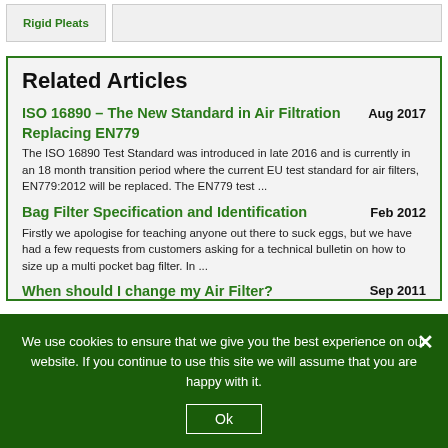Rigid Pleats
Related Articles
ISO 16890 – The New Standard in Air Filtration Replacing EN779 | Aug 2017 | The ISO 16890 Test Standard was introduced in late 2016 and is currently in an 18 month transition period where the current EU test standard for air filters, EN779:2012 will be replaced. The EN779 test ...
Bag Filter Specification and Identification | Feb 2012 | Firstly we apologise for teaching anyone out there to suck eggs, but we have had a few requests from customers asking for a technical bulletin on how to size up a multi pocket bag filter. In ...
When should I change my Air Filter? | Sep 2011
We use cookies to ensure that we give you the best experience on our website. If you continue to use this site we will assume that you are happy with it.
Ok